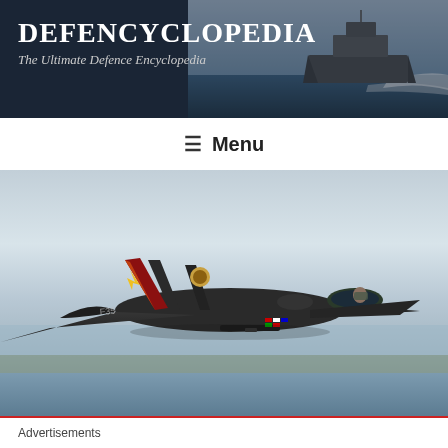DEFENCYCLOPEDIA
The Ultimate Defence Encyclopedia
☰ Menu
[Figure (photo): F-35 fighter jet flying over ocean/coastal area, seen from the side, dark colored aircraft with tail markings, hazy sky and water below]
Advertisements